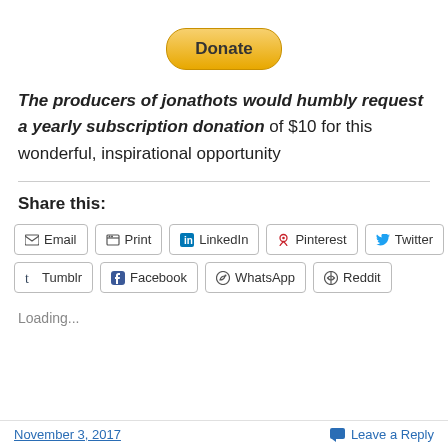[Figure (other): PayPal Donate button — yellow rounded rectangle with bold text 'Donate']
The producers of jonathots would humbly request a yearly subscription donation of $10 for this wonderful, inspirational opportunity
Share this:
Email
Print
LinkedIn
Pinterest
Twitter
Tumblr
Facebook
WhatsApp
Reddit
Loading...
November 3, 2017    Leave a Reply